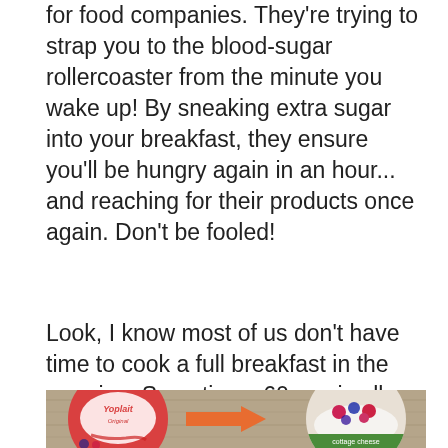for food companies. They're trying to strap you to the blood-sugar rollercoaster from the minute you wake up! By sneaking extra sugar into your breakfast, they ensure you'll be hungry again in an hour... and reaching for their products once again. Don't be fooled!
Look, I know most of us don't have time to cook a full breakfast in the morning. Sometimes 60 sec is all you've got. So here are a few *fast* and healthy swaps to start your day off on the right foot!
[Figure (photo): Food swap image showing a Yoplait Original yogurt on the left, an orange arrow pointing right in the middle, and a bowl of cottage cheese topped with berries (raspberries and blueberries) on the right, all on a wooden surface background.]